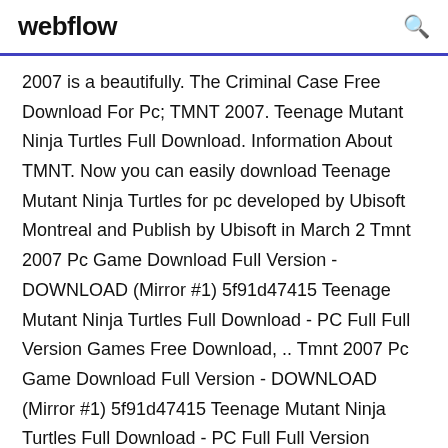webflow
2007 is a beautifully. The Criminal Case Free Download For Pc; TMNT 2007. Teenage Mutant Ninja Turtles Full Download. Information About TMNT. Now you can easily download Teenage Mutant Ninja Turtles for pc developed by Ubisoft Montreal and Publish by Ubisoft in March 2 Tmnt 2007 Pc Game Download Full Version - DOWNLOAD (Mirror #1) 5f91d47415 Teenage Mutant Ninja Turtles Full Download - PC Full Full Version Games Free Download, .. Tmnt 2007 Pc Game Download Full Version - DOWNLOAD (Mirror #1) 5f91d47415 Teenage Mutant Ninja Turtles Full Download - PC Full Full Version Games Free Download, ..